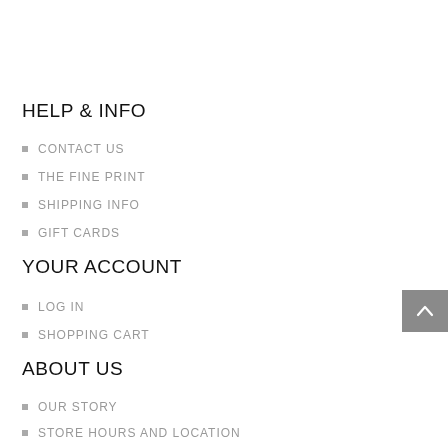HELP & INFO
CONTACT US
THE FINE PRINT
SHIPPING INFO
GIFT CARDS
YOUR ACCOUNT
LOG IN
SHOPPING CART
ABOUT US
OUR STORY
STORE HOURS AND LOCATION
CONTACT US